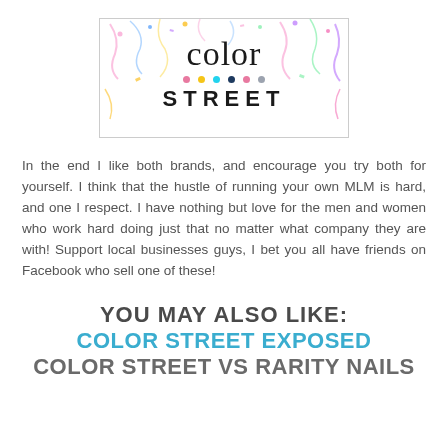[Figure (logo): Color Street logo with colorful confetti background, the word 'color' in light serif font, colored dots row (pink, yellow, cyan, dark blue, pink, gray), and 'STREET' in bold sans-serif]
In the end I like both brands, and encourage you try both for yourself. I think that the hustle of running your own MLM is hard, and one I respect. I have nothing but love for the men and women who work hard doing just that no matter what company they are with! Support local businesses guys, I bet you all have friends on Facebook who sell one of these!
YOU MAY ALSO LIKE:
COLOR STREET EXPOSED
COLOR STREET VS RARITY NAILS